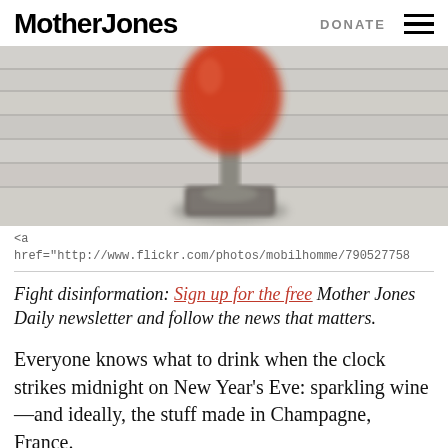Mother Jones   DONATE ☰
[Figure (photo): Blurry close-up photograph of a red wine glass on a wooden surface with a coaster]
<a href="http://www.flickr.com/photos/mobilhomme/790527758
Fight disinformation: Sign up for the free Mother Jones Daily newsletter and follow the news that matters.
Everyone knows what to drink when the clock strikes midnight on New Year's Eve: sparkling wine—and ideally, the stuff made in Champagne, France.